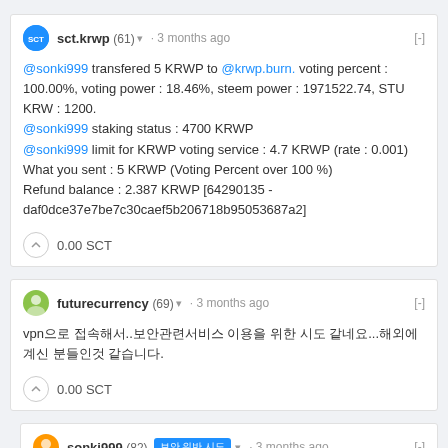sct.krwp (61) · 3 months ago
@sonki999 transfered 5 KRWP to @krwp.burn. voting percent : 100.00%, voting power : 18.46%, steem power : 1971522.74, STU KRW : 1200.
@sonki999 staking status : 4700 KRWP
@sonki999 limit for KRWP voting service : 4.7 KRWP (rate : 0.001)
What you sent : 5 KRWP (Voting Percent over 100 %)
Refund balance : 2.387 KRWP [64290135 - daf0dce37e7be7c30caef5b206718b95053687a2]
0.00 SCT
futurecurrency (69) · 3 months ago
vpn으로 접속해서..보안관련서비스 이용을 위한 시도 같네요...해외에 계신 분들인것 같습니다.
0.00 SCT
sonki999 (82) 보안 위반 시도 · 3 months ago
해외 vpn 이용자에대한 보안을 위한 조치 입니다
0.00 SCT